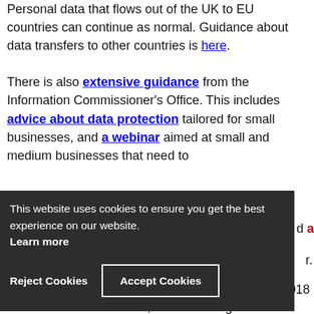Personal data that flows out of the UK to EU countries can continue as normal. Guidance about data transfers to other countries is here.
There is also extensive guidance from the Information Commissioner's Office. This includes advice about data protection tailored for small businesses, and a webinar aimed at small and medium businesses that need to
[Figure (screenshot): Cookie consent banner with dark background. Text reads: 'This website uses cookies to ensure you get the best experience on our website. Learn more'. Two buttons: 'Reject Cookies' and 'Accept Cookies'.]
2018
will be retained in UK law, with no changes to